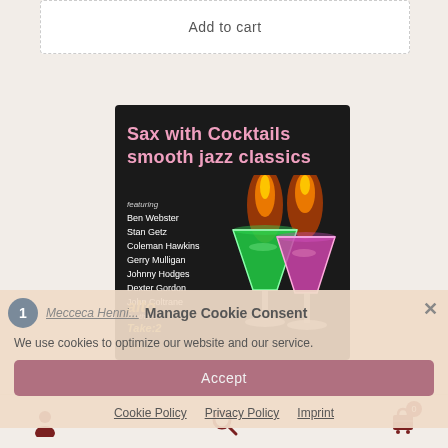Add to cart
[Figure (illustration): Album cover for 'Sax with Cocktails smooth jazz classics' on a dark background featuring two flaming cocktail glasses (green and pink martinis). Text listing featured artists: Ben Webster, Stan Getz, Coleman Hawkins, Gerry Mulligan, Johnny Hodges, Dexter Gordon, John Coltrane & others. Alto Take:2 label logo at bottom left.]
Manage Cookie Consent
We use cookies to optimize our website and our service.
Accept
Cookie Policy   Privacy Policy   Imprint